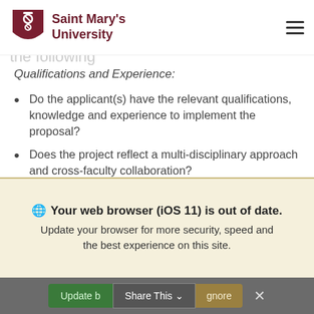Saint Mary's University
The following criteria to be utilized in the application will include the following
Qualifications and Experience:
Do the applicant(s) have the relevant qualifications, knowledge and experience to implement the proposal?
Does the project reflect a multi-disciplinary approach and cross-faculty collaboration?
Methodology:
Your web browser (iOS 11) is out of date. Update your browser for more security, speed and the best experience on this site.